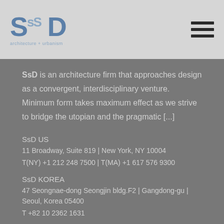SsD architecture+urbanism
SsD is an architecture firm that approaches design as a convergent, interdisciplinary venture. Minimum form takes maximum effect as we strive to bridge the utopian and the pragmatic [...]
SsD US
11 Broadway, Suite 819 | New York, NY 10004
T(NY) +1 212 248 7500 | T(MA) +1 617 576 9300
SsD KOREA
47 Seongnae-dong Seongjin bldg.F2 | Gangdong-gu | Seoul, Korea 05400
T +82 10 2362 1631
F +1 617 576 9300
E info@ssdarchitecture.com